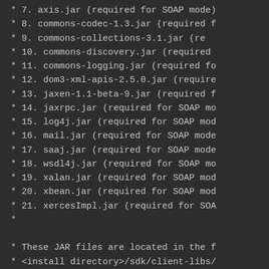* 7. axis.jar (required for SOAP mode)
* 8. commons-codec-1.3.jar (required f
* 9.  commons-collections-3.1.jar  (re
* 10. commons-discovery.jar (required
* 11. commons-logging.jar (required fo
* 12. dom3-xml-apis-2.5.0.jar (require
* 13. jaxen-1.1-beta-9.jar (required f
* 14. jaxrpc.jar (required for SOAP mo
* 15. log4j.jar (required for SOAP mod
* 16. mail.jar (required for SOAP mode
* 17. saaj.jar (required for SOAP mode
* 18. wsdl4j.jar (required for SOAP mo
* 19. xalan.jar (required for SOAP mod
* 20. xbean.jar (required for SOAP mod
* 21. xercesImpl.jar (required for SOA
*
* These JAR files are located in the f
* <install directory>/sdk/client-libs/
*